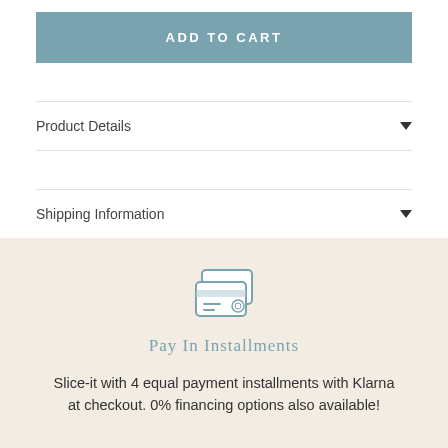ADD TO CART
Product Details
Shipping Information
[Figure (illustration): Two overlapping credit card icons in a light blue outline style]
Pay In Installments
Slice-it with 4 equal payment installments with Klarna at checkout. 0% financing options also available!